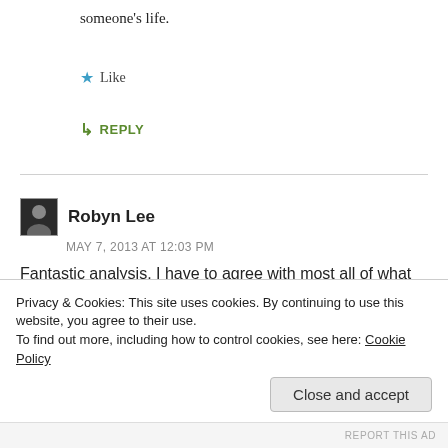someone's life.
★ Like
↳ REPLY
Robyn Lee
MAY 7, 2013 AT 12:03 PM
Fantastic analysis. I have to agree with most all of what you have so beautifully expressed here. Blogging is an art in and of itself in many ways. There is a personal element that I've realized is a different sort of creativity – not seen
Privacy & Cookies: This site uses cookies. By continuing to use this website, you agree to their use.
To find out more, including how to control cookies, see here: Cookie Policy
Close and accept